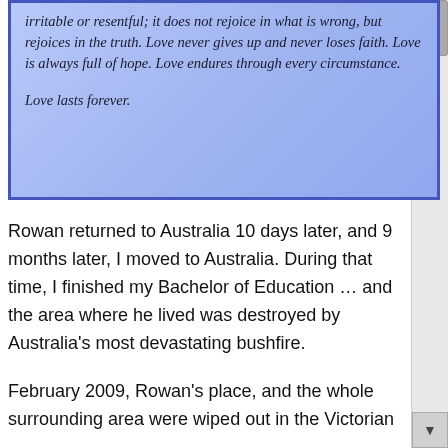irritable or resentful; it does not rejoice in what is wrong, but rejoices in the truth. Love never gives up and never loses faith. Love is always full of hope. Love endures through every circumstance.

Love lasts forever.
Rowan returned to Australia 10 days later, and 9 months later, I moved to Australia. During that time, I finished my Bachelor of Education … and the area where he lived was destroyed by Australia's most devastating bushfire.
February 2009, Rowan's place, and the whole surrounding area were wiped out in the Victorian